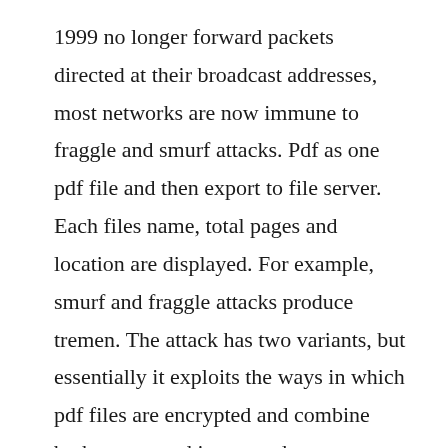1999 no longer forward packets directed at their broadcast addresses, most networks are now immune to fraggle and smurf attacks. Pdf as one pdf file and then export to file server. Each files name, total pages and location are displayed. For example, smurf and fraggle attacks produce tremen. The attack has two variants, but essentially it exploits the ways in which pdf files are encrypted and combine both secure and insecure data. Understanding security vulnerabilities in pdfs foxit pdf blog. The smurf attack is a distributed